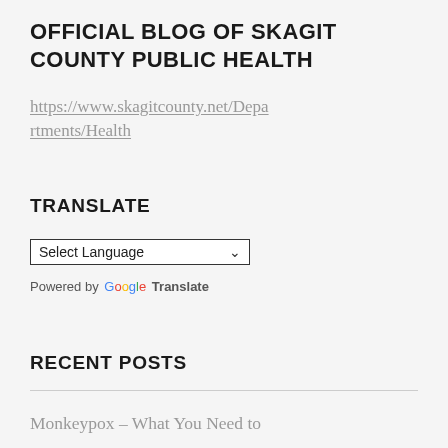OFFICIAL BLOG OF SKAGIT COUNTY PUBLIC HEALTH
https://www.skagitcounty.net/Departments/Health
TRANSLATE
[Figure (screenshot): Google Translate widget with 'Select Language' dropdown and 'Powered by Google Translate' text]
RECENT POSTS
Monkeypox – What You Need to